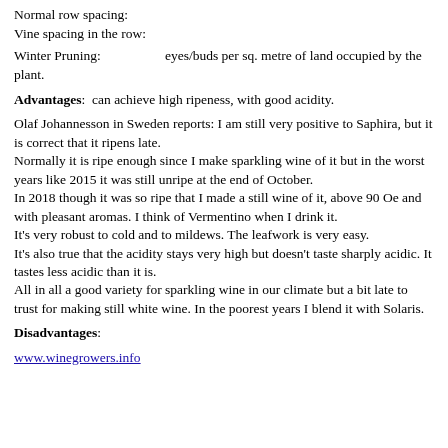Normal row spacing.
Vine spacing in the row:
Winter Pruning:                    eyes/buds per sq. metre of land occupied by the plant.
Advantages:  can achieve high ripeness, with good acidity.
Olaf Johannesson in Sweden reports: I am still very positive to Saphira, but it is correct that it ripens late.
Normally it is ripe enough since I make sparkling wine of it but in the worst years like 2015 it was still unripe at the end of October.
In 2018 though it was so ripe that I made a still wine of it, above 90 Oe and with pleasant aromas. I think of Vermentino when I drink it.
It’s very robust to cold and to mildews. The leafwork is very easy.
It’s also true that the acidity stays very high but doesn’t taste sharply acidic. It tastes less acidic than it is.
All in all a good variety for sparkling wine in our climate but a bit late to trust for making still white wine. In the poorest years I blend it with Solaris.
Disadvantages:
www.winegrowers.info